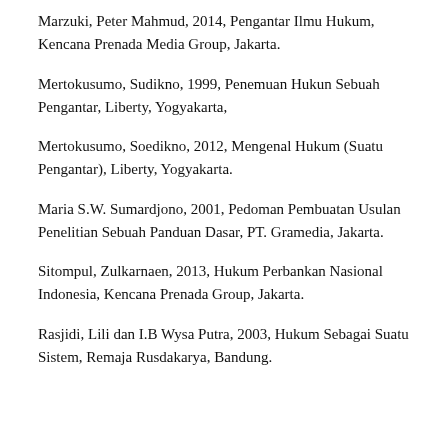Marzuki, Peter Mahmud, 2014, Pengantar Ilmu Hukum, Kencana Prenada Media Group, Jakarta.
Mertokusumo, Sudikno, 1999, Penemuan Hukun Sebuah Pengantar, Liberty, Yogyakarta,
Mertokusumo, Soedikno, 2012, Mengenal Hukum (Suatu Pengantar), Liberty, Yogyakarta.
Maria S.W. Sumardjono, 2001, Pedoman Pembuatan Usulan Penelitian Sebuah Panduan Dasar, PT. Gramedia, Jakarta.
Sitompul, Zulkarnaen, 2013, Hukum Perbankan Nasional Indonesia, Kencana Prenada Group, Jakarta.
Rasjidi, Lili dan I.B Wysa Putra, 2003, Hukum Sebagai Suatu Sistem, Remaja Rusdakarya, Bandung.